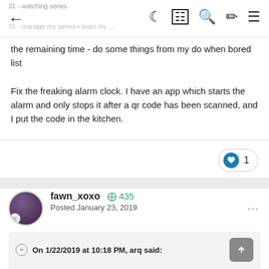← (nav bar with icons)
the remaining time - do some things from my do when bored list

Fix the freaking alarm clock. I have an app which starts the alarm and only stops it after a qr code has been scanned, and I put the code in the kitchen.
fawn_xoxo ✪ 435  Posted January 23, 2019
On 1/22/2019 at 10:18 PM, arq said:

how do I redefine myself when they expect me to behave in the same way?